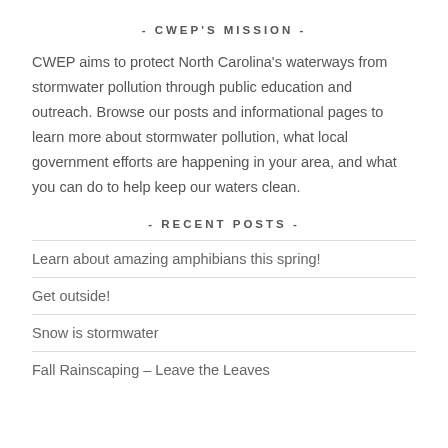- CWEP'S MISSION -
CWEP aims to protect North Carolina's waterways from stormwater pollution through public education and outreach. Browse our posts and informational pages to learn more about stormwater pollution, what local government efforts are happening in your area, and what you can do to help keep our waters clean.
- RECENT POSTS -
Learn about amazing amphibians this spring!
Get outside!
Snow is stormwater
Fall Rainscaping – Leave the Leaves